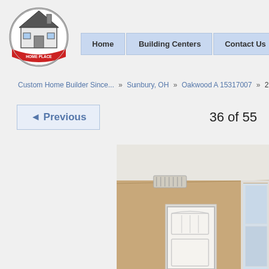[Figure (logo): America's Home Place circular logo with house illustration and red banner]
Home | Building Centers | Contact Us
Custom Home Builder Since... » Sunbury, OH » Oakwood A 15317007 » 20
◄ Previous   36 of 55
[Figure (photo): Interior room photo showing beige walls, white door with panel detail, ceiling vent, and window on right side]